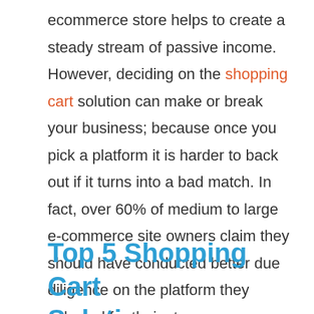ecommerce store helps to create a steady stream of passive income. However, deciding on the shopping cart solution can make or break your business; because once you pick a platform it is harder to back out if it turns into a bad match. In fact, over 60% of medium to large e-commerce site owners claim they should have conducted better due diligence on the platform they selected for their stores.
Top 5 Shopping Cart Solutions